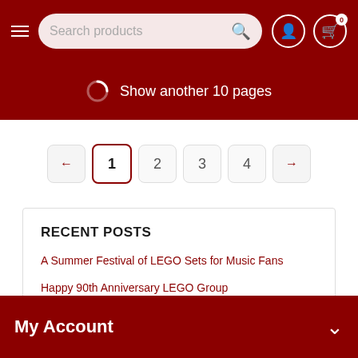Search products
Show another 10 pages
← 1 2 3 4 →
RECENT POSTS
A Summer Festival of LEGO Sets for Music Fans
Happy 90th Anniversary LEGO Group
Life is a LEGO Loop Coaster (Just Got to Ride It)
My Account